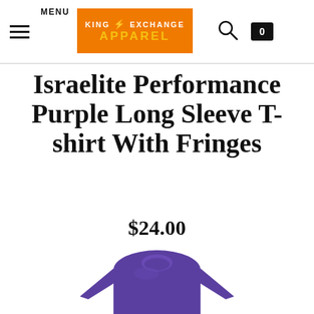MENU — King Exchange Apparel logo — search icon — cart icon (0)
Israelite Performance Purple Long Sleeve T-shirt With Fringes
$24.00
[Figure (photo): Purple long sleeve performance t-shirt displayed against white background]